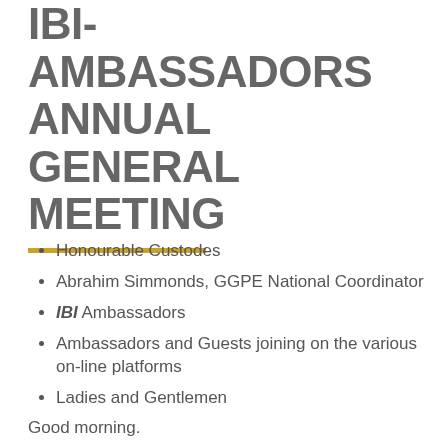IBI-AMBASSADORS ANNUAL GENERAL MEETING
Honourable Custodes
Abrahim Simmonds, GGPE National Coordinator
IBI Ambassadors
Ambassadors and Guests joining on the various on-line platforms
Ladies and Gentlemen
Good morning.